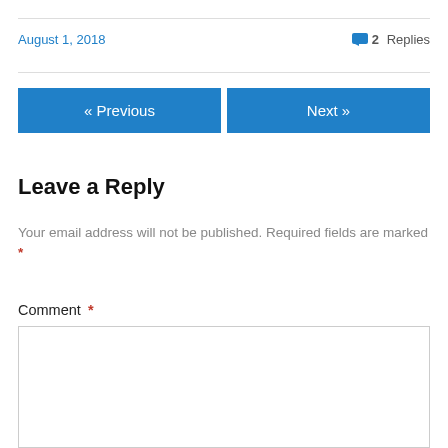August 1, 2018
💬 2 Replies
« Previous
Next »
Leave a Reply
Your email address will not be published. Required fields are marked *
Comment *